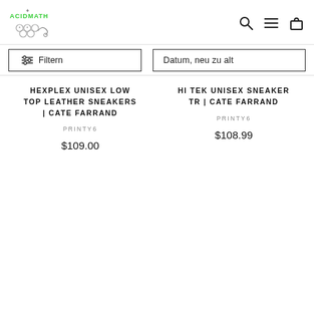[Figure (logo): ACID MATH brand logo with stylized text and grape/skull motif in green and grey]
[Figure (other): Navigation icons: search (magnifying glass), menu (three lines), shopping bag]
Filtern
Datum, neu zu alt
HEXPLEX UNISEX LOW TOP LEATHER SNEAKERS | CATE FARRAND
PRINTY6
$109.00
HI TEK UNISEX SNEAKER TR | CATE FARRAND
PRINTY6
$108.99